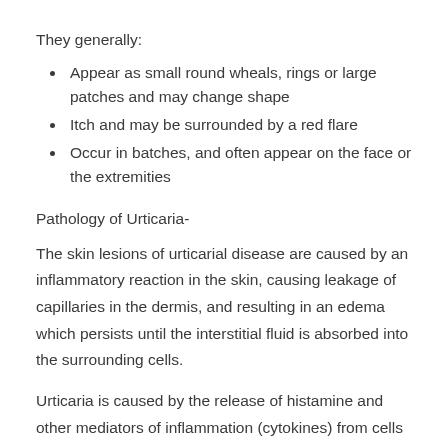They generally:
Appear as small round wheals, rings or large patches and may change shape
Itch and may be surrounded by a red flare
Occur in batches, and often appear on the face or the extremities
Pathology of Urticaria-
The skin lesions of urticarial disease are caused by an inflammatory reaction in the skin, causing leakage of capillaries in the dermis, and resulting in an edema which persists until the interstitial fluid is absorbed into the surrounding cells.
Urticaria is caused by the release of histamine and other mediators of inflammation (cytokines) from cells in the skin. This process can be the result of an allergic or nonallergic reaction, differing in the